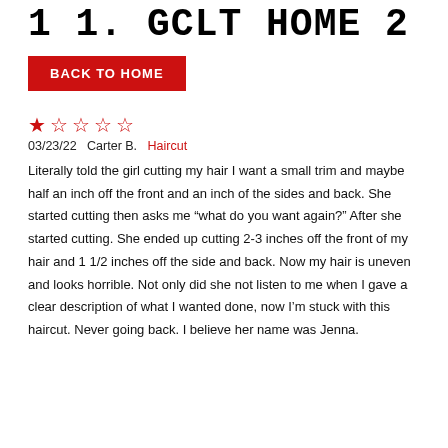1 1. GCLT HOME 2
BACK TO HOME
[Figure (other): Star rating display: 1 filled red star followed by 4 empty red star outlines, indicating 1 out of 5 stars]
03/23/22   Carter B.   Haircut
Literally told the girl cutting my hair I want a small trim and maybe half an inch off the front and an inch of the sides and back. She started cutting then asks me “what do you want again?” After she started cutting. She ended up cutting 2-3 inches off the front of my hair and 1 1/2 inches off the side and back. Now my hair is uneven and looks horrible. Not only did she not listen to me when I gave a clear description of what I wanted done, now I’m stuck with this haircut. Never going back. I believe her name was Jenna.